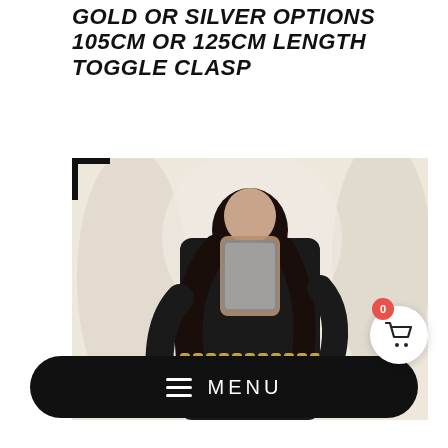GOLD OR SILVER OPTIONS 105CM OR 125CM LENGTH TOGGLE CLASP
[Figure (photo): Woman in black long-sleeve fitted top and black skirt wearing a gold chain belt, taking a mirror selfie with a smartphone. Background is a white draped fabric. A shopping cart button with badge showing '0' is visible on the right side of the image.]
MENU